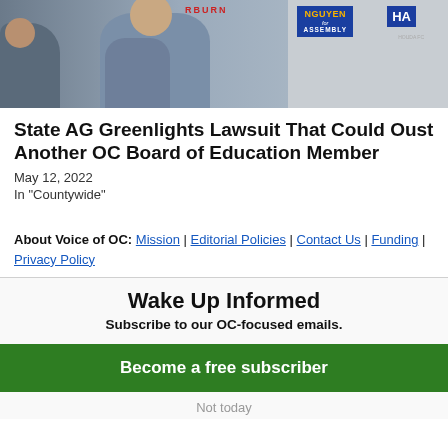[Figure (photo): Photo of a person speaking at a campaign event with political signs in the background including NGUYEN for ASSEMBLY and OSBURN signs]
State AG Greenlights Lawsuit That Could Oust Another OC Board of Education Member
May 12, 2022
In "Countywide"
About Voice of OC: Mission | Editorial Policies | Contact Us | Funding | Privacy Policy
Wake Up Informed
Subscribe to our OC-focused emails.
Become a free subscriber
Not today